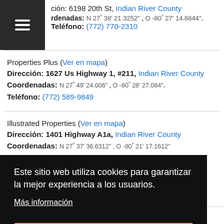ción: 6198 20th St, Indian River County
Coordenadas: N 27º 38' 21.3252" , O -80º 27' 14.6844".
Teléfono: (772) 770-2310
Properties Plus (Ver en mapa)
Dirección: 1627 Us Highway 1, #211, Indian River County
Coordenadas: N 27º 49' 24.006" , O -80º 28' 27.084".
Teléfono: (772) 589-9849
Illustrated Properties (Ver en mapa)
Dirección: 1401 Highway A1a, Indian River County
Coordenadas: N 27º 37' 36.6312" , O -80º 21' 17.1612"
Este sitio web utiliza cookies para garantizar la mejor experiencia a los usuarios.
Más información
De acuerdo
Coordenadas: N 27º 46' 6.024" , O -80º 36' 26.3052".